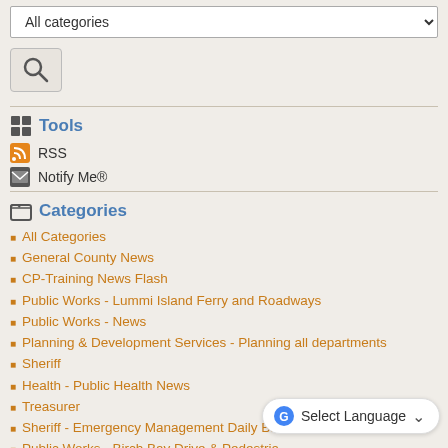All categories (dropdown)
Tools
RSS
Notify Me®
Categories
All Categories
General County News
CP-Training News Flash
Public Works - Lummi Island Ferry and Roadways
Public Works - News
Planning & Development Services - Planning all departments
Sheriff
Health - Public Health News
Treasurer
Sheriff - Emergency Management Daily Br…
Public Works - Birch Bay Drive & Pedestria…
Treasurer - Passport Information
Planning & Development Services - Planning Master P…
Select Language